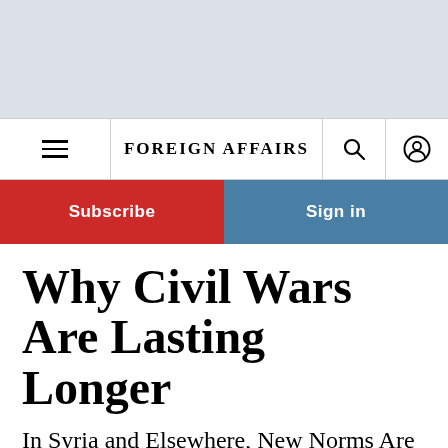[Figure (other): Light gray advertisement banner area at top of page]
FOREIGN AFFAIRS
[Figure (other): Subscribe (red button) and Sign in (blue button) call-to-action bar]
Why Civil Wars Are Lasting Longer
In Syria and Elsewhere, New Norms Are Changing the Face of Conflict
By Lise Morié Howard and Alexandra Stark